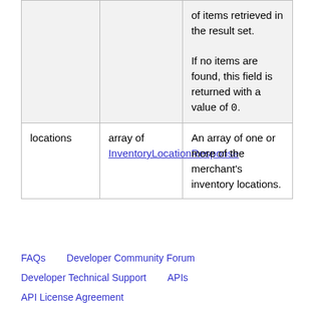| Field | Type | Description |
| --- | --- | --- |
|  |  | of items retrieved in the result set.

If no items are found, this field is returned with a value of 0. |
| locations | array of InventoryLocationResponse | An array of one or more of the merchant's inventory locations. |
FAQs    Developer Community Forum
Developer Technical Support    APIs
API License Agreement